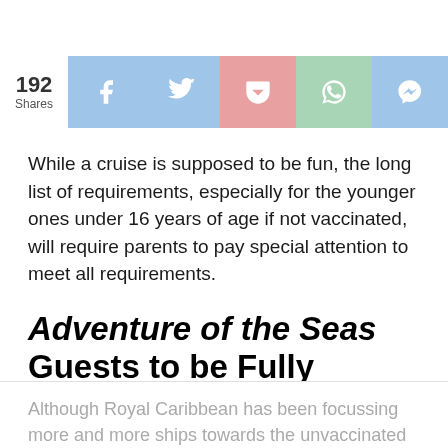[Figure (infographic): Social share bar showing 192 Shares, with buttons for Facebook, Twitter, Pocket (pink), WhatsApp (green), and Messenger]
While a cruise is supposed to be fun, the long list of requirements, especially for the younger ones under 16 years of age if not vaccinated, will require parents to pay special attention to meet all requirements.
Adventure of the Seas Guests to be Fully Vaccinated
Although Royal Caribbean has been focussing more and more ships towards the unvaccinated